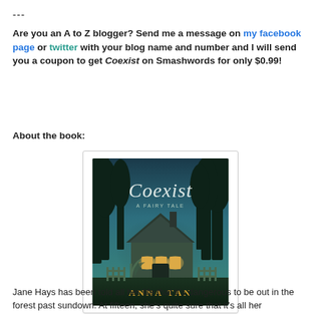---
Are you an A to Z blogger? Send me a message on my facebook page or twitter with your blog name and number and I will send you a coupon to get Coexist on Smashwords for only $0.99!
About the book:
[Figure (illustration): Book cover for 'Coexist: A Fairy Tale' by Anna Tan. Features a misty forest with a glowing stone cottage and fence at dusk. Title 'Coexist' in cursive script at top, subtitle 'A Fairy Tale' below, author name 'Anna Tan' in gold at bottom.]
Jane Hays has been told all her life that it's dangerous to be out in the forest past sundown. At fifteen, she's quite sure that it's all her imagination, but she will soon learn the